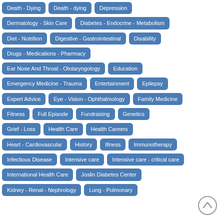Death - Dying
Death - dying
Depression
Dermatology - Skin Care
Diabetes - Endocrine - Metabolism
Diet - Nutrition
Digestive - Gastrointestinal
Disability
Drugs - Medications - Pharmacy
Ear Nose And Throat - Otolaryngology
Education
Emergency Medicine - Trauma
Entertainment
Epilepsy
Expert Advice
Eye - Vision - Ophthalmology
Family Medicine
Fitness
Full Episode
Fundraising
Genetics
Grief - Loss
Health Care
Health Careers
Heart - Cardiovascular
History
Illness
Immunotherapy
Infectious Disease
Intensive care
Intensive care - critical care
International Health Care
Joslin Diabetes Center
Kidney - Renal - Nephrology
Lung - Pulmonary